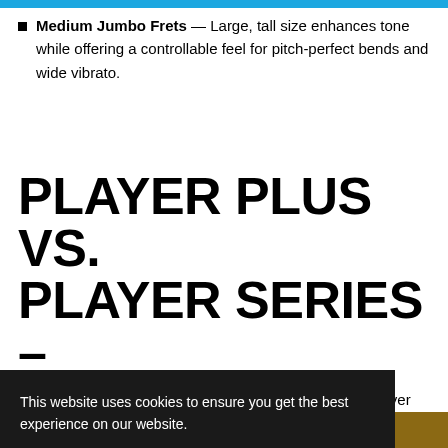Medium Jumbo Frets — Large, tall size enhances tone while offering a controllable feel for pitch-perfect bends and wide vibrato.
PLAYER PLUS VS. PLAYER SERIES – DIFFERENCES
While the instruments from both the Player Plus and Player series' share some key elements, this next section uncovers the sheer amount of differences — both large and small — that they actually
This website uses cookies to ensure you get the best experience on our website.
Learn more
Got it